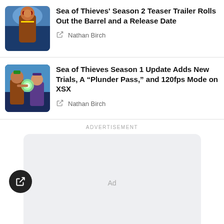[Figure (photo): Sea of Thieves pirate character thumbnail - top article]
Sea of Thieves’ Season 2 Teaser Trailer Rolls Out the Barrel and a Release Date
Nathan Birch
[Figure (photo): Sea of Thieves characters with glowing orb thumbnail - second article]
Sea of Thieves Season 1 Update Adds New Trials, A “Plunder Pass,” and 120fps Mode on XSX
Nathan Birch
ADVERTISEMENT
[Figure (other): Ad placeholder box with text 'Ad']